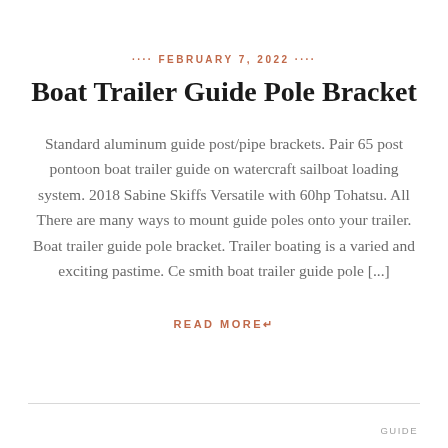···· FEBRUARY 7, 2022 ····
Boat Trailer Guide Pole Bracket
Standard aluminum guide post/pipe brackets. Pair 65 post pontoon boat trailer guide on watercraft sailboat loading system. 2018 Sabine Skiffs Versatile with 60hp Tohatsu. All There are many ways to mount guide poles onto your trailer. Boat trailer guide pole bracket. Trailer boating is a varied and exciting pastime. Ce smith boat trailer guide pole [...]
READ MORE↵
GUIDE